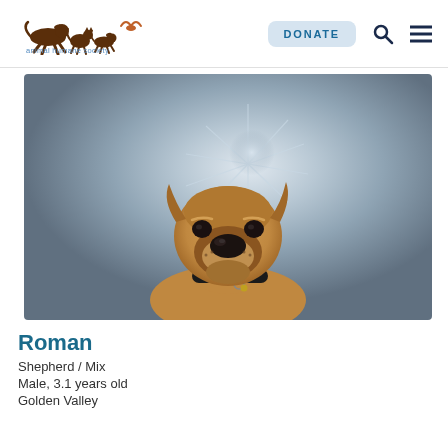animal humane society | DONATE
[Figure (photo): A tan/fawn colored Shepherd mix dog named Roman sitting and looking directly at the camera. The dog has a black collar with a tag, floppy ears, and a dark muzzle. The background is a metallic silver surface with a star-burst reflection pattern.]
Roman
Shepherd / Mix
Male, 3.1 years old
Golden Valley